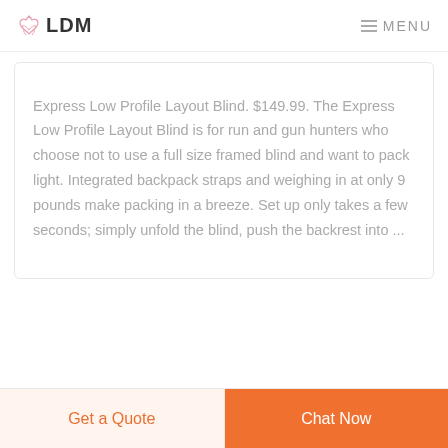LDM  MENU
Express Low Profile Layout Blind. $149.99. The Express Low Profile Layout Blind is for run and gun hunters who choose not to use a full size framed blind and want to pack light. Integrated backpack straps and weighing in at only 9 pounds make packing in a breeze. Set up only takes a few seconds; simply unfold the blind, push the backrest into ...
Get a Quote  Chat Now